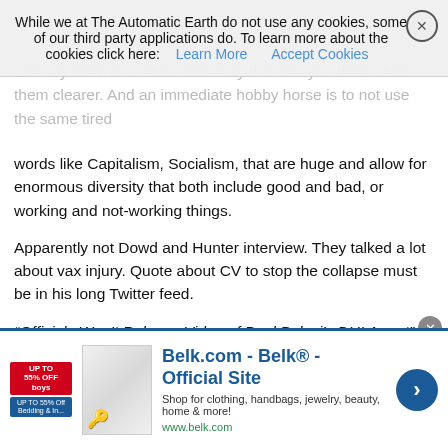While we at The Automatic Earth do not use any cookies, some of our third party applications do. To learn more about the cookies click here: Learn More  Accept Cookies
words like Capitalism, Socialism, that are huge and allow for enormous diversity that both include good and bad, or working and not-working things.
Apparently not Dowd and Hunter interview. They talked a lot about vax injury. Quote about CV to stop the collapse must be in his long Twitter feed.
“Officials Won’t Release Video of Paul Pelosi’s DUI Arrest”
That’s okay: they won’t release 64,000 videos of 1/6 either. Some animals are more equal than others. I’m sure it’s because he was totally, totally innocent and wasn’t slurring his speak and barely able to stand or anything. Guys: It’s my money. I paid for that video. That means you have to release it.
Speaking of police: You’re on your own! But after Uvalde, we all know that, the greatest gun ad in U.S. history, “When seconds count…
[Figure (screenshot): Advertisement banner for Belk.com - Belk Official Site. Shows product image, text 'Shop for clothing, handbags, jewelry, beauty, home & more!' and www.belk.com URL with a blue arrow button.]